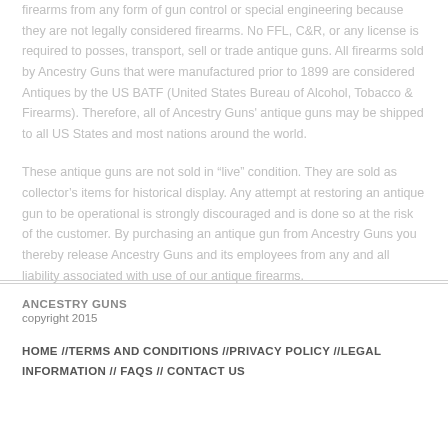firearms from any form of gun control or special engineering because they are not legally considered firearms. No FFL, C&R, or any license is required to posses, transport, sell or trade antique guns. All firearms sold by Ancestry Guns that were manufactured prior to 1899 are considered Antiques by the US BATF (United States Bureau of Alcohol, Tobacco & Firearms). Therefore, all of Ancestry Guns' antique guns may be shipped to all US States and most nations around the world.
These antique guns are not sold in “live” condition. They are sold as collector’s items for historical display. Any attempt at restoring an antique gun to be operational is strongly discouraged and is done so at the risk of the customer. By purchasing an antique gun from Ancestry Guns you thereby release Ancestry Guns and its employees from any and all liability associated with use of our antique firearms.
ANCESTRY GUNS
copyright 2015
HOME //TERMS AND CONDITIONS //PRIVACY POLICY //LEGAL INFORMATION // FAQS // CONTACT US